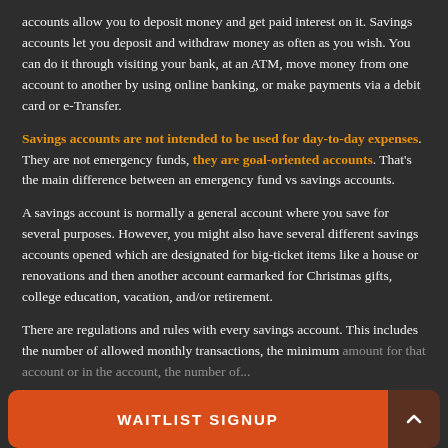accounts allow you to deposit money and get paid interest on it. Savings accounts let you deposit and withdraw money as often as you wish. You can do it through visiting your bank, at an ATM, move money from one account to another by using online banking, or make payments via a debit card or e-Transfer.
Savings accounts are not intended to be used for day-to-day expenses. They are not emergency funds, they are goal-oriented accounts. That's the main difference between an emergency fund vs savings accounts.
A savings account is normally a general account where you save for several purposes. However, you might also have several different savings accounts opened which are designated for big-ticket items like a house or renovations and then another account earmarked for Christmas gifts, college education, vacation, and/or retirement.
There are regulations and rules with every savings account. This includes the number of allowed monthly transactions, the minimum amount for...
WAITLIST SIGNUP